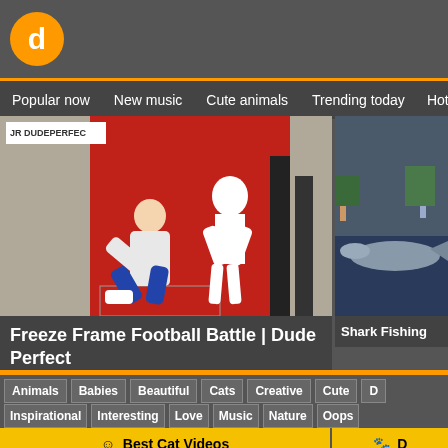[Figure (screenshot): Doovi website header with orange circular logo containing letter d]
Popular now   New music   Cute animals   Trending today   Hot tra...
[Figure (screenshot): Video thumbnail: Freeze Frame Football Battle | Dude Perfect - man bending over on red background with silhouette]
[Figure (screenshot): Video thumbnail: Shark Fishing - partially visible thumbnail on right side]
Animals
Babies
Beautiful
Cats
Creative
Cute
D...
Inspirational
Interesting
Love
Music
Nature
Oops
☺  Best Cat Videos
doovi © | 2014-2018
YouTube Subscribers Stats
Buy YouTube Subscribers
Terms...